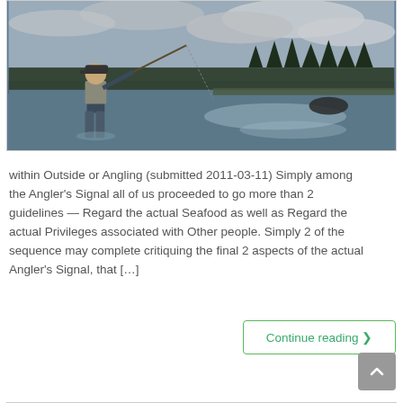[Figure (photo): A person fishing with a fly rod in a river, standing in the water wearing waders. Forested shoreline and cloudy sky in the background with light reflecting off the water.]
within Outside or Angling (submitted 2011-03-11) Simply among the Angler's Signal all of us proceeded to go more than 2 guidelines — Regard the actual Seafood as well as Regard the actual Privileges associated with Other people. Simply 2 of the sequence may complete critiquing the final 2 aspects of the actual Angler's Signal, that […]
Continue reading ❯